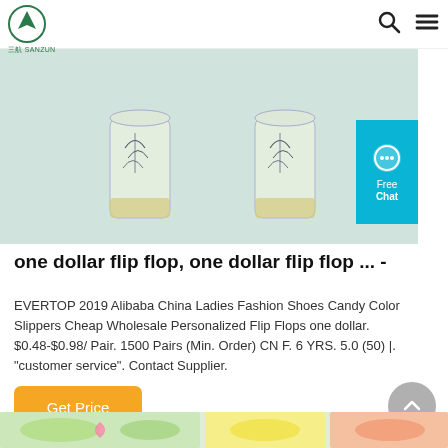三航 SANZUN logo with search and menu icons
[Figure (photo): Two glass bottles/cups with botanical leaf designs on a light mint/green background]
one dollar flip flop, one dollar flip flop ... -
EVERTOP 2019 Alibaba China Ladies Fashion Shoes Candy Color Slippers Cheap Wholesale Personalized Flip Flops one dollar. $0.48-$0.98/ Pair. 1500 Pairs (Min. Order) CN F. 6 YRS. 5.0 (50) |. "customer service". Contact Supplier.
[Figure (other): Get Price orange button]
[Figure (other): Back to top circular grey button with upward chevron]
[Figure (photo): Bottom strip showing colorful flip flop product images partially visible]